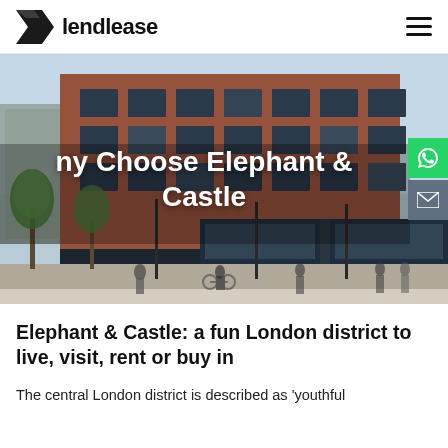lendlease
[Figure (photo): Street-level rendering of a modern red-brick mixed-use building at Elephant & Castle, London, with pedestrians and cyclists on the pavement, trees, and retail shopfronts at ground level.]
Why Choose Elephant & Castle
Elephant & Castle: a fun London district to live, visit, rent or buy in
The central London district is described as 'youthful